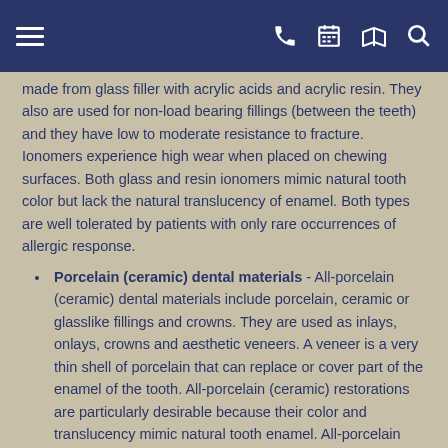Navigation bar with menu, phone, calendar, map, and search icons
made from glass filler with acrylic acids and acrylic resin. They also are used for non-load bearing fillings (between the teeth) and they have low to moderate resistance to fracture. Ionomers experience high wear when placed on chewing surfaces. Both glass and resin ionomers mimic natural tooth color but lack the natural translucency of enamel. Both types are well tolerated by patients with only rare occurrences of allergic response.
Porcelain (ceramic) dental materials - All-porcelain (ceramic) dental materials include porcelain, ceramic or glasslike fillings and crowns. They are used as inlays, onlays, crowns and aesthetic veneers. A veneer is a very thin shell of porcelain that can replace or cover part of the enamel of the tooth. All-porcelain (ceramic) restorations are particularly desirable because their color and translucency mimic natural tooth enamel. All-porcelain restorations require a minimum of two visits and possibly more. The restorations are prone to fracture when placed under tension or on impact. Their strength depends on an adequate thickness of porcelain and the ability to be bonded to the underlying tooth. They are highly resistant to wear and they are considered...